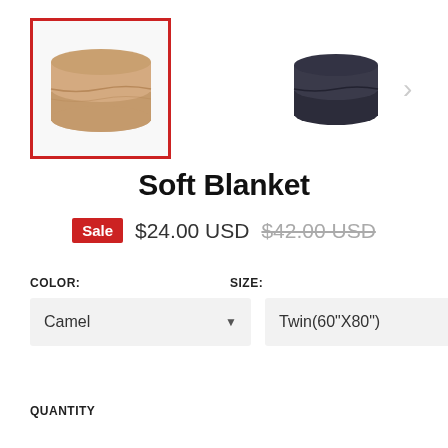[Figure (photo): Two product thumbnail images of a folded soft blanket. Left image shows a camel/tan colored blanket with a red border (selected). Right image shows a dark navy/charcoal colored blanket. A right arrow navigation indicator is shown to the right.]
Soft Blanket
Sale  $24.00 USD  $42.00 USD (strikethrough)
COLOR:
SIZE:
Camel
Twin(60"X80")
QUANTITY